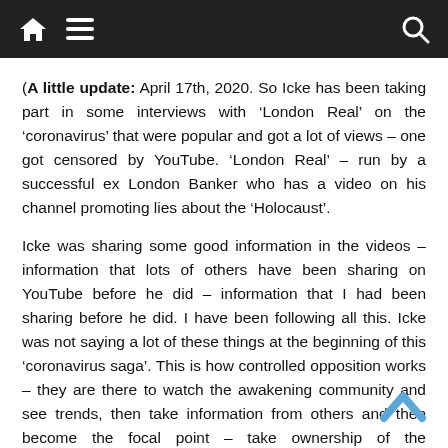Navigation bar with home, menu, and search icons
(​A little update: April 17th, 2020. So Icke has been taking part in some interviews with ‘London Real’ on the ‘coronavirus’ that were popular and got a lot of views – one got censored by YouTube. ‘London Real’ – run by a successful ex London Banker who has a video on his channel promoting lies about the ‘Holocaust’.
Icke was sharing some good information in the videos – information that lots of others have been sharing on YouTube before he did – information that I had been sharing before he did. I have been following all this. Icke was not saying a lot of these things at the beginning of this ‘coronavirus saga’. This is how controlled opposition works – they are there to watch the awakening community and see trends, then take information from others and then become the focal point – take ownership of the information.